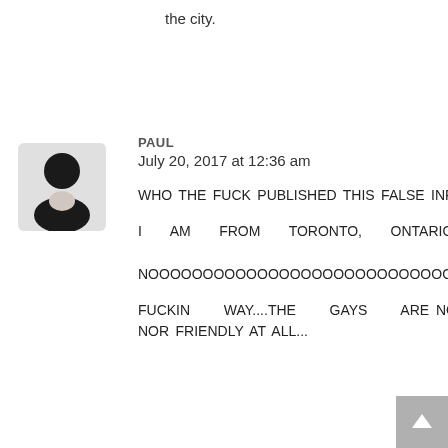the city.
[Figure (illustration): Default user avatar: black silhouette of a person (head and shoulders) on a light grey circular/rounded background]
PAUL
July 20, 2017 at 12:36 am
WHO THE FUCK PUBLISHED THIS FALSE INFORMATION?

I AM FROM TORONTO, ONTARIO CANADA AND NOOOOOOOOOOOOOOOOOOOOOOOOOOOOOO

FUCKIN WAY....THE GAYS ARE NOT..........NICE, NOR FRIENDLY AT ALL...